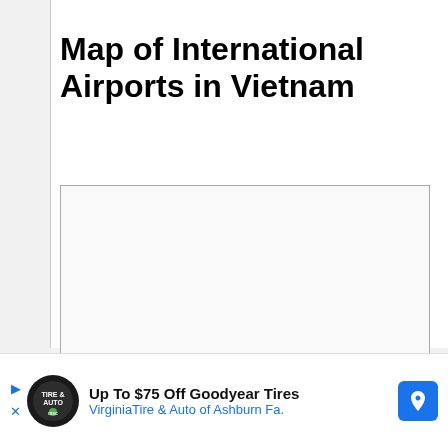Map of International Airports in Vietnam
[Figure (map): A blank/loading map area showing the map of international airports in Vietnam. The map content area is white/light gray with a border, indicating the map tiles have not loaded.]
Up To $75 Off Goodyear Tires   VirginiaTire & Auto of Ashburn Fa.